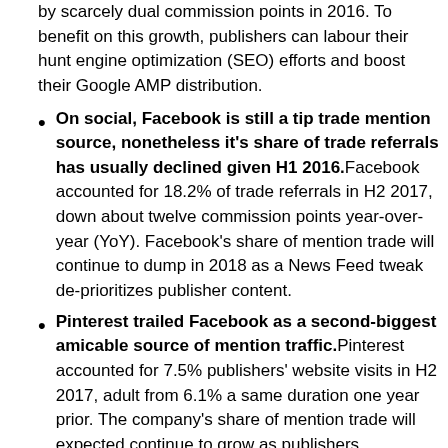by scarcely dual commission points in 2016. To benefit on this growth, publishers can labour their hunt engine optimization (SEO) efforts and boost their Google AMP distribution.
On social, Facebook is still a tip trade mention source, nonetheless it's share of trade referrals has usually declined given H1 2016. Facebook accounted for 18.2% of trade referrals in H2 2017, down about twelve commission points year-over-year (YoY). Facebook's share of mention trade will continue to dump in 2018 as a News Feed tweak de-prioritizes publisher content.
Pinterest trailed Facebook as a second-biggest amicable source of mention traffic. Pinterest accounted for 7.5% publishers' website visits in H2 2017, adult from 6.1% a same duration one year prior. The company's share of mention trade will expected continue to grow as publishers demeanour to branch their decreased Facebook prominence by augmenting their